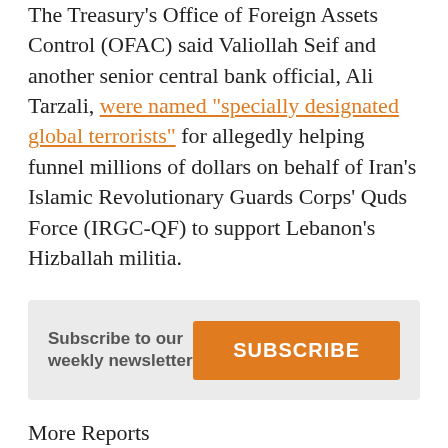The Treasury's Office of Foreign Assets Control (OFAC) said Valiollah Seif and another senior central bank official, Ali Tarzali, were named "specially designated global terrorists" for allegedly helping funnel millions of dollars on behalf of Iran's Islamic Revolutionary Guards Corps' Quds Force (IRGC-QF) to support Lebanon's Hizballah militia.
Subscribe to our weekly newsletter | SUBSCRIBE
More Reports